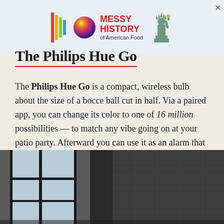[Figure (other): Advertisement banner: colorful logo with rainbow bars and colored sphere, text 'MESSY HISTORY of American Food' in red, Statue of Liberty icon on the right]
The Philips Hue Go
The Philips Hue Go is a compact, wireless bulb about the size of a bocce ball cut in half. Via a paired app, you can change its color to one of 16 million possibilities — to match any vibe going on at your patio party. Afterward you can use it as an alarm that will gently wake you up by slowly dialing up the light at whatever time you choose.
[Figure (photo): Interior architectural photo showing dark concrete walls and a large window with black metal frames letting in light, minimalist industrial space]